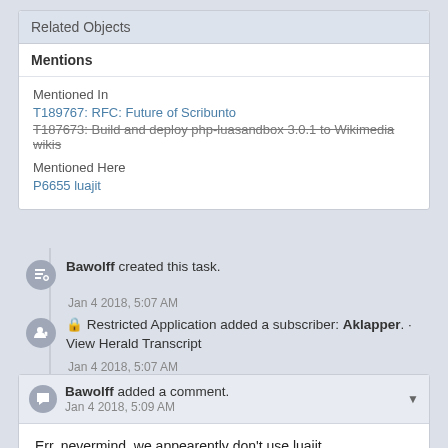Related Objects
Mentions
Mentioned In
T189767: RFC: Future of Scribunto
T187673: Build and deploy php-luasandbox 3.0.1 to Wikimedia wikis
Mentioned Here
P6655 luajit
Bawolff created this task.
Jan 4 2018, 5:07 AM
Restricted Application added a subscriber: Aklapper. · View Herald Transcript
Jan 4 2018, 5:07 AM
Bawolff added a comment.
Jan 4 2018, 5:09 AM
Err, nevermind, we appearently don't use luajit